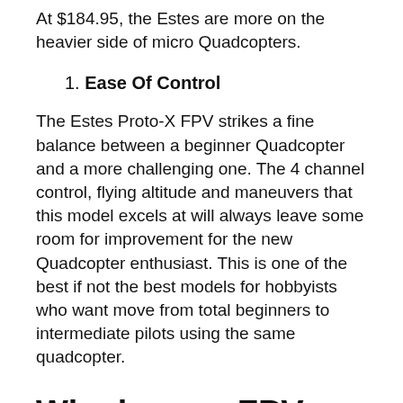At $184.95, the Estes are more on the heavier side of micro Quadcopters.
1. Ease Of Control
The Estes Proto-X FPV strikes a fine balance between a beginner Quadcopter and a more challenging one. The 4 channel control, flying altitude and maneuvers that this model excels at will always leave some room for improvement for the new Quadcopter enthusiast. This is one of the best if not the best models for hobbyists who want move from total beginners to intermediate pilots using the same quadcopter.
Why buy an FPV equipped Quadcopter?